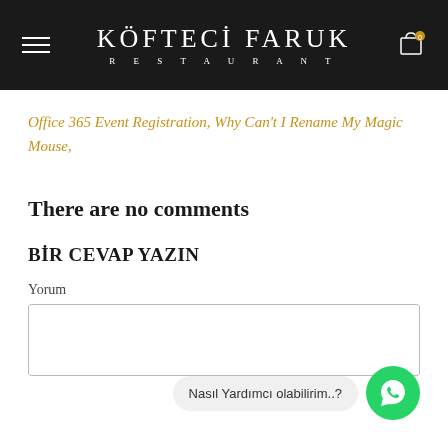KÖFTECİ FARUK RESTAURANT
Office 365 Event Registration, Why Can't I Rename My Magic Mouse,
There are no comments
BİR CEVAP YAZIN
Yorum
Nasıl Yardımcı olabilirim..?